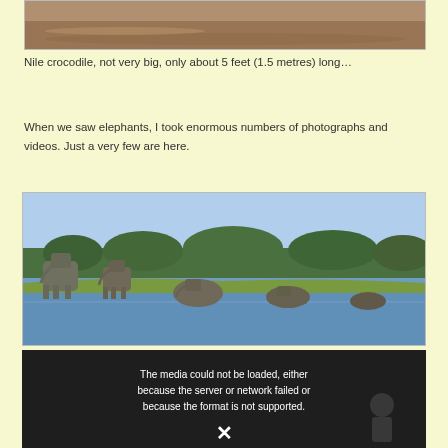[Figure (photo): Partial view of a Nile crocodile in water, top portion visible]
Nile crocodile, not very big, only about 5 feet (1.5 metres) long…
When we saw elephants, I took enormous numbers of photographs and videos. Just a very few are here.
[Figure (photo): Elephants crossing a river with green vegetation and trees in the background]
[Figure (other): Video player showing error: The media could not be loaded, either because the server or network failed or because the format is not supported.]